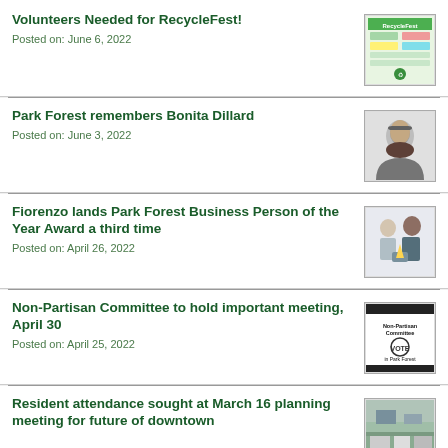Volunteers Needed for RecycleFest!
Posted on: June 6, 2022
[Figure (photo): RecycleFest flyer/poster image]
Park Forest remembers Bonita Dillard
Posted on: June 3, 2022
[Figure (photo): Black and white portrait of Bonita Dillard]
Fiorenzo lands Park Forest Business Person of the Year Award a third time
Posted on: April 26, 2022
[Figure (photo): Two people holding an award]
Non-Partisan Committee to hold important meeting, April 30
Posted on: April 25, 2022
[Figure (photo): Non-Partisan Committee in Park Forest logo/flyer]
Resident attendance sought at March 16 planning meeting for future of downtown
[Figure (photo): Downtown street/parking area photo]